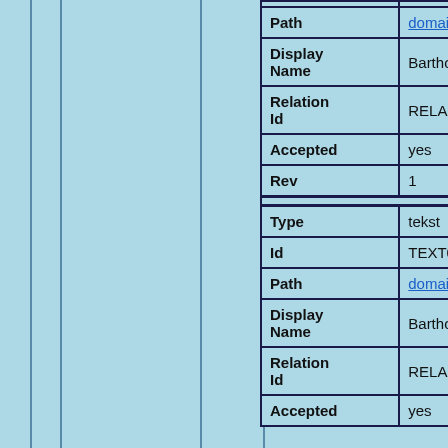| Field | Value |
| --- | --- |
| Path | domain/teksten/TEXT... |
| Display Name | Bartholomeus Anglic... proprietatibus rerum... Corbechon); Frans |
| Relation Id | RELA0000031564... |
| Accepted | yes |
| Rev | 1 |
| Type | tekst |
| Id | TEXT00000000810... |
| Path | domain/teksten/TEX... |
| Display Name | Bartholomeus van P... casibus conscientiae... |
| Relation Id | RELA0000025906... |
| Accepted | yes |